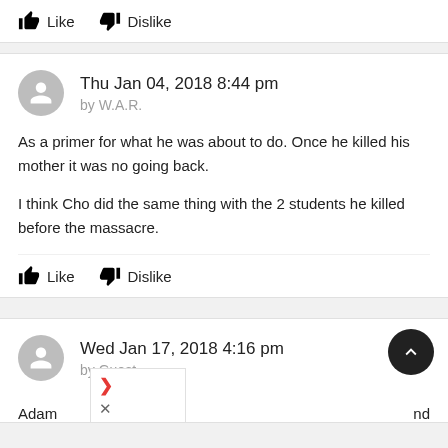Like  Dislike
Thu Jan 04, 2018 8:44 pm
by W.A.R.
As a primer for what he was about to do. Once he killed his mother it was no going back.

I think Cho did the same thing with the 2 students he killed before the massacre.
Like  Dislike
Wed Jan 17, 2018 4:16 pm
by Guest
Adam  nd